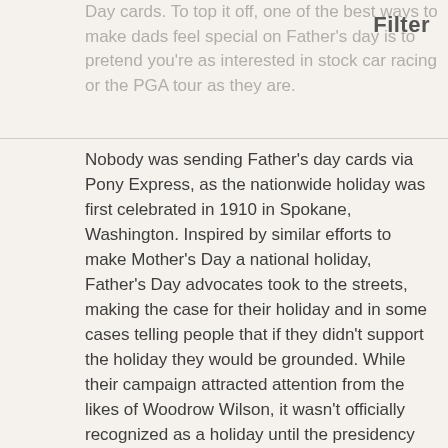Day cards. To top it off, one of the best ways to make dads feel special on Father's day is to pretend you're as interested in stock car racing or the PGA tour as they are.
Filter
Nobody was sending Father's day cards via Pony Express, as the nationwide holiday was first celebrated in 1910 in Spokane, Washington. Inspired by similar efforts to make Mother's Day a national holiday, Father's Day advocates took to the streets, making the case for their holiday and in some cases telling people that if they didn't support the holiday they would be grounded. While their campaign attracted attention from the likes of Woodrow Wilson, it wasn't officially recognized as a holiday until the presidency of Richard Nixon, who after all was the father of the Watergate scandal. Ever since, the day has been a time for people around the nation to come to papa, with Father's day card sales and long distance calls exploding - especially collect calls, since our pops have taught us to be thrifty. And while the dads of the world may be known for their crustiness, they're still loveable in a Rip Torn sort of way. Why not let them know you're thinking of them with a Father's Day card or a greeting card with Father's Day sayings? Because deep within that